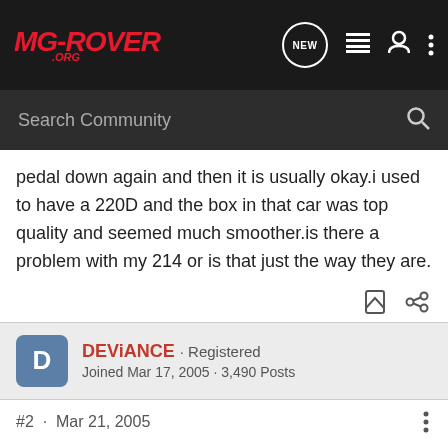[Figure (screenshot): MG-Rover.org forum navigation bar with logo, NEW button, list icon, user icon, and more icon]
[Figure (screenshot): Search Community search bar on dark background]
pedal down again and then it is usually okay.i used to have a 220D and the box in that car was top quality and seemed much smoother.is there a problem with my 214 or is that just the way they are.
DEViANCE · Registered
Joined Mar 17, 2005 · 3,490 Posts
#2 · Mar 21, 2005
i sometimes have this, it tends to be when i am aproching a junction, slowing down etc and then selecting 1st b4 i have come to a stop.